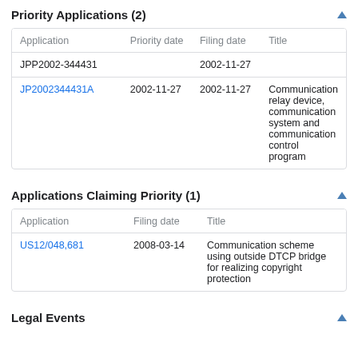Priority Applications (2)
| Application | Priority date | Filing date | Title |
| --- | --- | --- | --- |
| JPP2002-344431 |  | 2002-11-27 |  |
| JP2002344431A | 2002-11-27 | 2002-11-27 | Communication relay device, communication system and communication control program |
Applications Claiming Priority (1)
| Application | Filing date | Title |
| --- | --- | --- |
| US12/048,681 | 2008-03-14 | Communication scheme using outside DTCP bridge for realizing copyright protection |
Legal Events